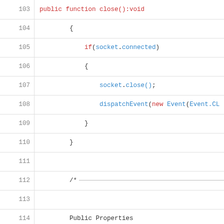Code listing lines 103-122 showing ActionScript/Flash code with public function close():void, if(socket.connected), socket.close(), dispatchEvent(new Event(Event.CL, closing braces, comment block for Public Properties, public function get data():String, return _data;